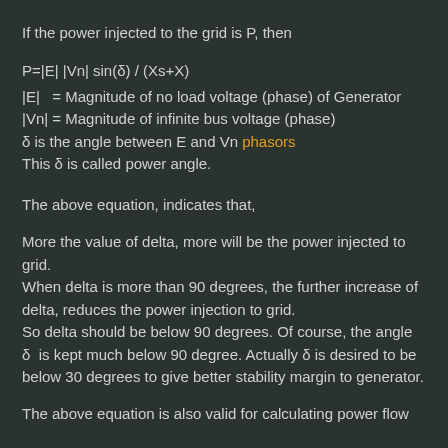If the power injected to the grid is P, then
|E|   = Magnitude of no load voltage (phase) of Generator
|Vn| = Magnitude of infinite bus voltage (phase)
δ is the angle between E and Vn phasors
This δ is called power angle.
The above equation, indicates that,
More the value of delta, more will be the power injected to grid.
When delta is more than 90 degrees, the further increase of delta, reduces the power injection to grid.
So delta should be below 90 degrees. Of course, the angle δ  is kept much below 90 degree. Actually δ is desired to be below 30 degrees to give better stability margin to generator.
The above equation is also valid for calculating power flow